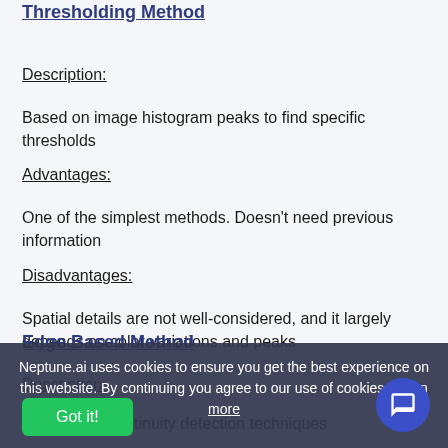Thresholding Method
Description:
Based on image histogram peaks to find specific thresholds
Advantages:
One of the simplest methods. Doesn’t need previous information
Disadvantages:
Spatial details are not well-considered, and it largely depends on color variations and peaks
Edge Based Method
Description:
Applying discontinuity detection techniques